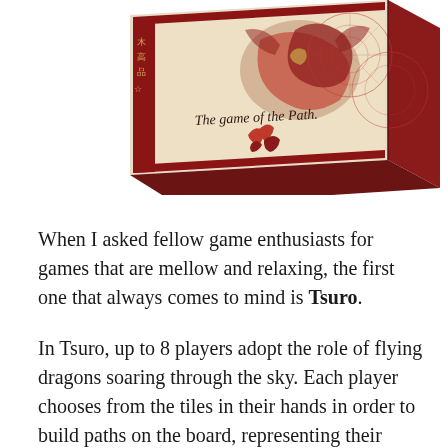[Figure (photo): A board game box for 'Tsuro – The game of the Path', shown at an angle. The box has a cream/parchment-colored top with red and gold decorative elements including a dragon, circular patterns, and the text 'The game of the Path.' in script. The box sides are dark red/maroon and the word 'Tsuro' is visible vertically on the right side.]
When I asked fellow game enthusiasts for games that are mellow and relaxing, the first one that always comes to mind is Tsuro.
In Tsuro, up to 8 players adopt the role of flying dragons soaring through the sky. Each player chooses from the tiles in their hands in order to build paths on the board, representing their paths through the sky. Naturally, these paths will eventually intersect, and you need to be careful to avoid colliding with another dragon or following a path right off the edge of the board. (Both of those scenarios